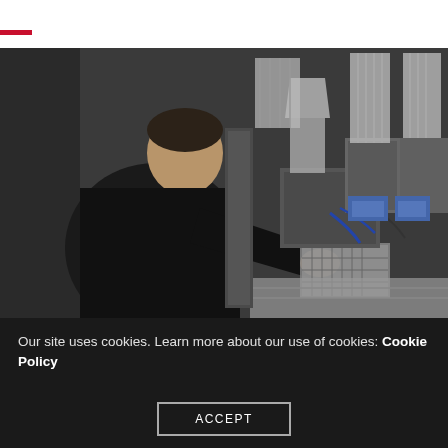[Figure (photo): A technician in a black jacket inspecting or replacing an air filter inside a commercial HVAC system with large ducts and insulated components visible.]
It's important to perform regular maintenance on your commercial HVAC system to avoid clogs, cracks, and
Our site uses cookies. Learn more about our use of cookies: Cookie Policy
ACCEPT